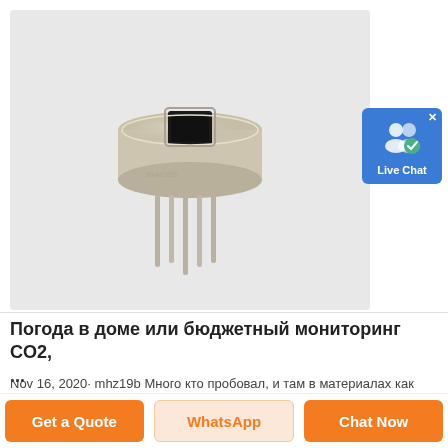[Figure (photo): Electronic sensor component (metal TO-style package with pins and dark square window on top) on light gray background]
[Figure (other): Live Chat button widget with blue background, user icon with checkmark, and X close button]
Погода в доме или бюджетный мониторинг CO2, ...
Nov 16, 2020· mhz19b Много кто пробовал, и там в материалах как раз есть местное сравнение . В целом если хочется сэкономить можно использовать, но бывает поглюкивают и ...